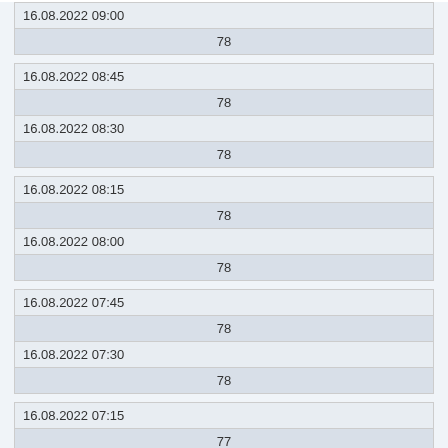| 16.08.2022 09:00 |
| 78 |
| 16.08.2022 08:45 |
| 78 |
| 16.08.2022 08:30 |
| 78 |
| 16.08.2022 08:15 |
| 78 |
| 16.08.2022 08:00 |
| 78 |
| 16.08.2022 07:45 |
| 78 |
| 16.08.2022 07:30 |
| 78 |
| 16.08.2022 07:15 |
| 77 |